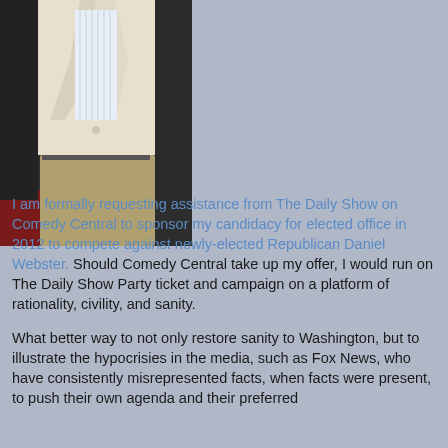[Figure (photo): Partial photo of a person wearing a white/cream blazer over a striped shirt with khaki pants, cropped at torso level, against a dark background with reddish floor visible.]
I am formally requesting assistance from The Daily Show on Comedy Central to sponsor my candidacy for elected office in 2012 to compete against newly-elected Republican Daniel Webster. Should Comedy Central take up my offer, I would run on The Daily Show Party ticket and campaign on a platform of rationality, civility, and sanity.

What better way to not only restore sanity to Washington, but to illustrate the hypocrisies in the media, such as Fox News, who have consistently misrepresented facts, when facts were present, to push their own agenda and their preferred